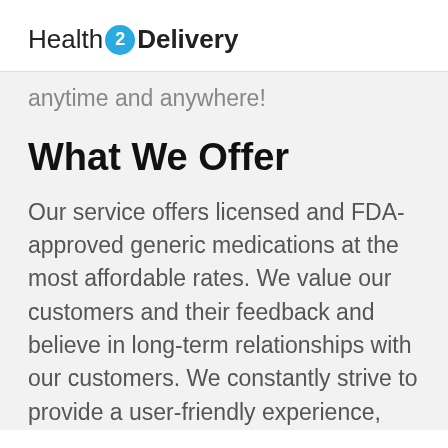Health2Delivery
anytime and anywhere!
What We Offer
Our service offers licensed and FDA-approved generic medications at the most affordable rates. We value our customers and their feedback and believe in long-term relationships with our customers. We constantly strive to provide a user-friendly experience, convenience, fast delivery, and top customer care to our consumers. Our website frequently holds discounts, special offers...